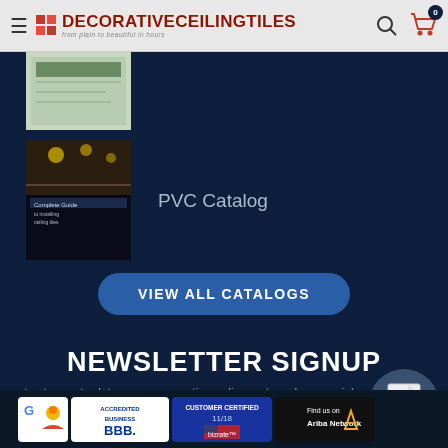DecorativeCeilingTiles — from plain to beautiful in hours
[Figure (photo): Partial view of a ceiling catalog book with greenish cover]
[Figure (photo): Complete Guide to ceiling installation catalog book showing a room interior]
PVC Catalog
VIEW ALL CATALOGS
NEWSLETTER SIGNUP
to stay up-to-date on our promotions, discounts, sales, special offers and more.
[Figure (illustration): Dollar sign document icon in circular button]
[Figure (logo): Google badge logo]
[Figure (logo): BBB Accredited Business badge]
[Figure (logo): Customer Certified 11/18 by Bizrate badge]
[Figure (logo): Find us on Ariba Network badge]